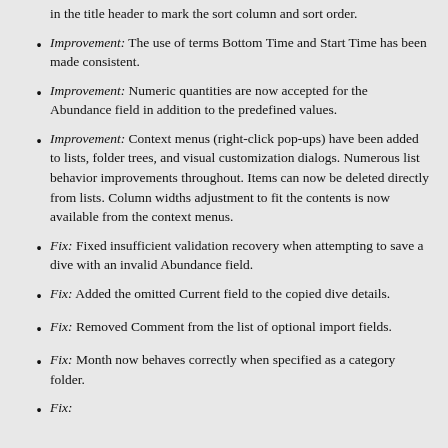in the title header to mark the sort column and sort order.
Improvement: The use of terms Bottom Time and Start Time has been made consistent.
Improvement: Numeric quantities are now accepted for the Abundance field in addition to the predefined values.
Improvement: Context menus (right-click pop-ups) have been added to lists, folder trees, and visual customization dialogs. Numerous list behavior improvements throughout. Items can now be deleted directly from lists. Column widths adjustment to fit the contents is now available from the context menus.
Fix: Fixed insufficient validation recovery when attempting to save a dive with an invalid Abundance field.
Fix: Added the omitted Current field to the copied dive details.
Fix: Removed Comment from the list of optional import fields.
Fix: Month now behaves correctly when specified as a category folder.
Fix: (partial, cut off at bottom)